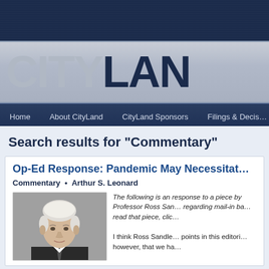CityLand
Home • About CityLand • CityLand Sponsors • Filings & Decisions
Search results for "Commentary"
Op-Ed Response: Pandemic May Necessitat…
Commentary • Arthur S. Leonard
[Figure (photo): Portrait photo of an elderly man with white/grey hair against a grey background]
The following is an response to a piece by Professor Ross San… regarding mail-in ba… read that piece, clic… I think Ross Sandle… points in this editori… however, that we ha…